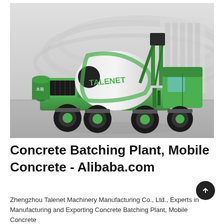[Figure (photo): A green and black self-loading concrete mixer truck (Talenet brand) on a smooth road surface, with a modern architectural building in the blurred background. The mixer drum is white with green 'TALENET' lettering. The vehicle has large black tires with green rims.]
Concrete Batching Plant, Mobile Concrete - Alibaba.com
Zhengzhou Talenet Machinery Manufacturing Co., Ltd., Experts in Manufacturing and Exporting Concrete Batching Plant, Mobile Concrete